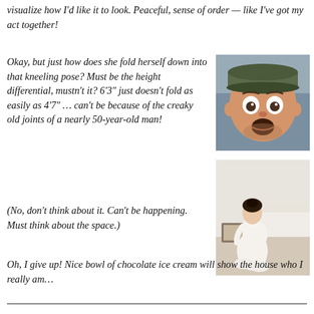visualize how I'd like it to look. Peaceful, sense of order — like I've got my act together!
Okay, but just how does she fold herself down into that kneeling pose? Must be the height differential, mustn't it? 6'3" just doesn't fold as easily as 4'7" … can't be because of the creaky old joints of a nearly 50-year-old man!
[Figure (photo): Man with surprised/shocked expression wearing a baseball cap]
(No, don't think about it. Can't be happening. Must think about the space.)
[Figure (photo): Woman in white dress kneeling on the floor in a tidy room]
Oh, I give up! Nice bowl of chocolate ice cream will show the house who I really am…